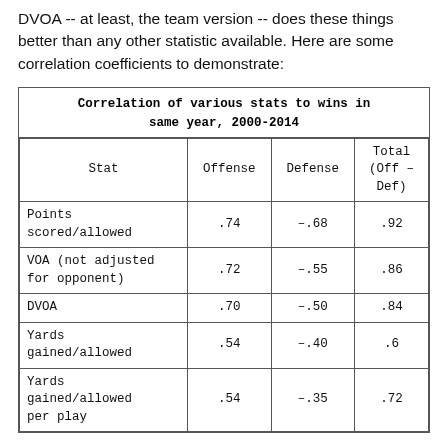DVOA -- at least, the team version -- does these things better than any other statistic available. Here are some correlation coefficients to demonstrate:
| Stat | Offense | Defense | Total (Off – Def) |
| --- | --- | --- | --- |
| Points scored/allowed | .74 | –.68 | .92 |
| VOA (not adjusted for opponent) | .72 | –.55 | .86 |
| DVOA | .70 | –.50 | .84 |
| Yards gained/allowed | .54 | –.40 | .6[partially obscured] |
| Yards gained/allowed per play | .54 | –.35 | .72 |